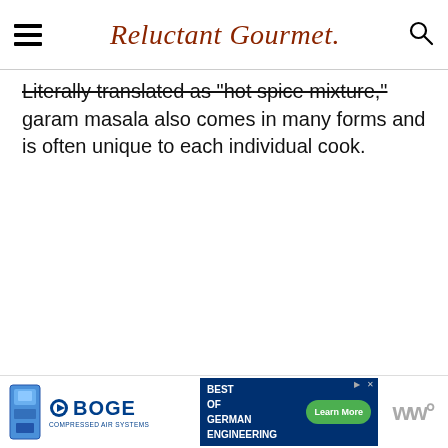Reluctant Gourmet
Literally translated as "hot spice mixture," garam masala also comes in many forms and is often unique to each individual cook.
[Figure (other): Advertisement banner at bottom: BOGE Compressed Air Systems logo on left, and 'Best of German Engineering - Learn More' ad on right]